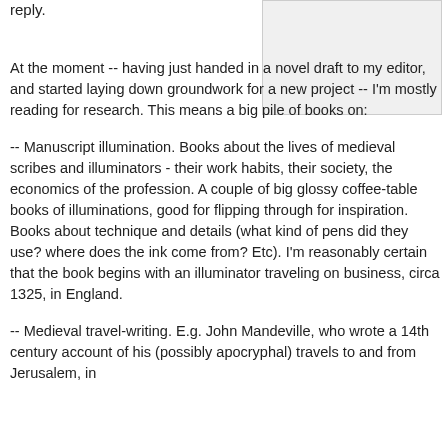reply.
[Figure (other): A light gray rectangular image box placeholder in the upper right area of the page.]
At the moment -- having just handed in a novel draft to my editor, and started laying down groundwork for a new project -- I'm mostly reading for research. This means a big pile of books on:
-- Manuscript illumination. Books about the lives of medieval scribes and illuminators - their work habits, their society, the economics of the profession. A couple of big glossy coffee-table books of illuminations, good for flipping through for inspiration. Books about technique and details (what kind of pens did they use? where does the ink come from? Etc). I'm reasonably certain that the book begins with an illuminator traveling on business, circa 1325, in England.
-- Medieval travel-writing. E.g. John Mandeville, who wrote a 14th century account of his (possibly apocryphal) travels to and from Jerusalem, in